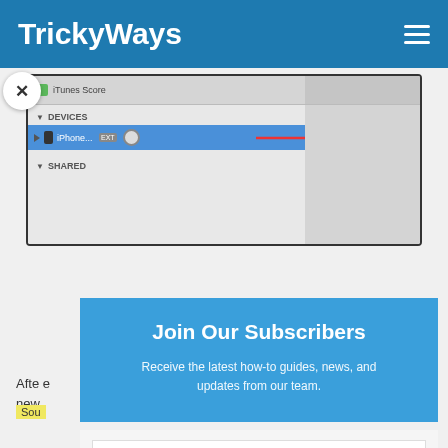TrickyWays
[Figure (screenshot): iTunes sidebar showing DEVICES section with iPhone entry highlighted in blue, with a red arrow pointing to a sync icon. SHARED section label also visible. Right pane shows gray area.]
[Figure (infographic): Newsletter subscription modal overlay with blue background. Title: Join Our Subscribers. Subtitle: Receive the latest how-to guides, news, and updates from our team. Has a close X button. Below: Enter your email field and Subscribe button.]
Afte... e new...
Sou...